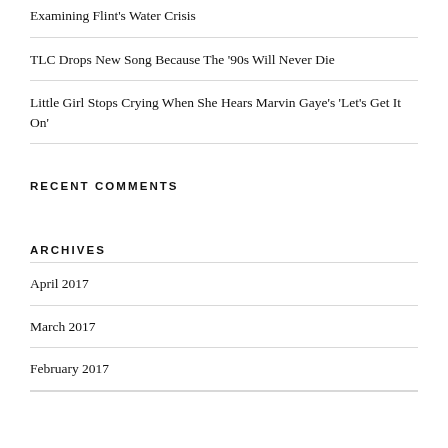Examining Flint’s Water Crisis
TLC Drops New Song Because The ’90s Will Never Die
Little Girl Stops Crying When She Hears Marvin Gaye’s ‘Let’s Get It On’
RECENT COMMENTS
ARCHIVES
April 2017
March 2017
February 2017